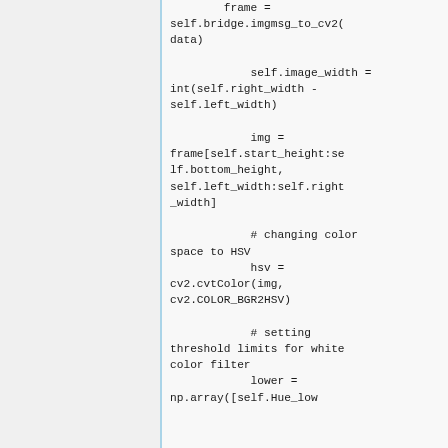frame = self.bridge.imgmsg_to_cv2(data)

            self.image_width = int(self.right_width - self.left_width)

            img = frame[self.start_height:self.bottom_height, self.left_width:self.right_width]

            # changing color space to HSV
            hsv = cv2.cvtColor(img, cv2.COLOR_BGR2HSV)

            # setting threshold limits for white color filter
            lower = np.array([self.Hue_low